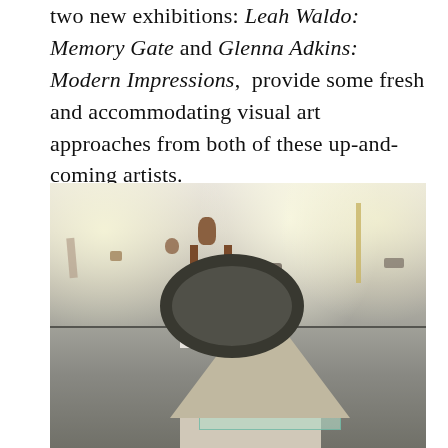two new exhibitions: Leah Waldo: Memory Gate and Glenna Adkins: Modern Impressions,  provide some fresh and accommodating visual art approaches from both of these up-and-coming artists.
[Figure (photo): Interior view of an art gallery with white walls and spotlights. Various small artworks hang on the walls. In the foreground is a large sculptural piece — a grey cone-shaped base with a circular disc/ring element, sitting on a glass platform and plinth. In the middle ground, a wooden pedestal-style stand holds a small brown sculptural form.]